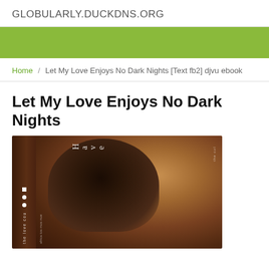GLOBULARLY.DUCKDNS.ORG
Home / Let My Love Enjoys No Dark Nights [Text fb2] djvu ebook
Let My Love Enjoys No Dark Nights
[Figure (photo): Book cover showing a person with dark hair viewed from behind/side, with vertical spine text and title overlay text reading 'Have' in stylized letters. Warm amber/brown tones.]